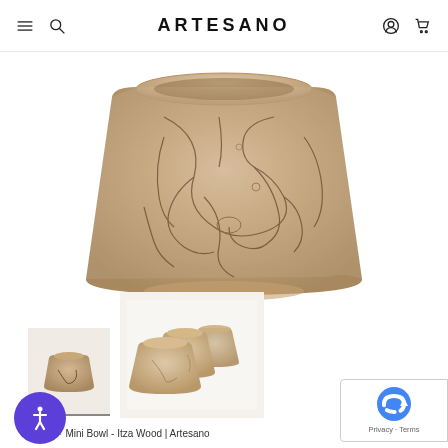ARTESANO
[Figure (photo): A wooden mini bowl with spalted wood grain patterns showing dark veining across a light tan surface, viewed from slightly above at an angle. The bowl is conical/bucket-shaped, wider at the top.]
[Figure (photo): Thumbnail 1: small single wooden mini bowl, top-down angled view, light tan wood.]
[Figure (photo): Thumbnail 2: group of several wooden mini bowls stacked/grouped together on a white surface.]
Home • Mini Bowl - Itza Wood | Artesano
bowl